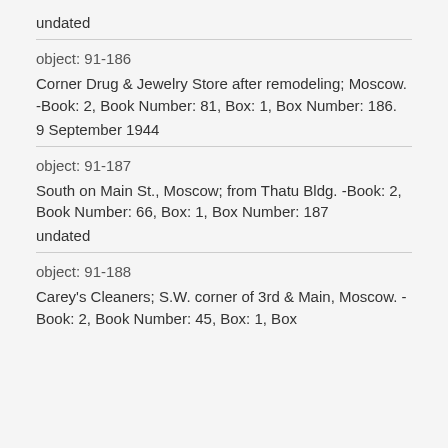undated
object: 91-186
Corner Drug & Jewelry Store after remodeling; Moscow. -Book: 2, Book Number: 81, Box: 1, Box Number: 186.
9 September 1944
object: 91-187
South on Main St., Moscow; from Thatu Bldg. -Book: 2, Book Number: 66, Box: 1, Box Number: 187
undated
object: 91-188
Carey's Cleaners; S.W. corner of 3rd & Main, Moscow. -Book: 2, Book Number: 45, Box: 1, Box